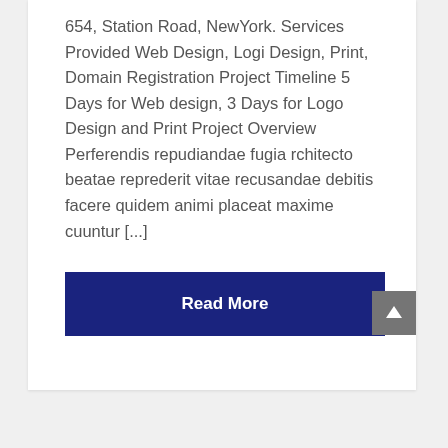654, Station Road, NewYork. Services Provided Web Design, Logi Design, Print, Domain Registration Project Timeline 5 Days for Web design, 3 Days for Logo Design and Print Project Overview Perferendis repudiandae fugia rchitecto beatae reprederit vitae recusandae debitis facere quidem animi placeat maxime cuuntur [...]
Read More